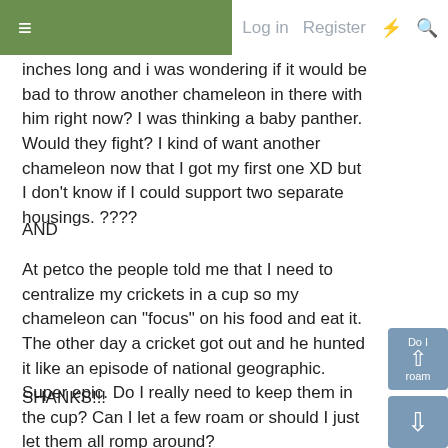≡  Log in  Register  ⚡  🔍
inches long and i was wondering if it would be bad to throw another chameleon in there with him right now? I was thinking a baby panther. Would they fight? I kind of want another chameleon now that I got my first one XD but I don't know if I could support two separate housings. ????
AND
At petco the people told me that I need to centralize my crickets in a cup so my chameleon can "focus" on his food and eat it. The other day a cricket got out and he hunted it like an episode of national geographic. Super epic. Do I really need to keep them in the cup? Can I let a few roam or should I just let them all romp around?
SHANKS!!!